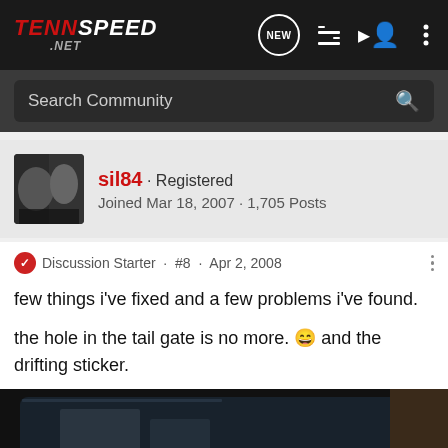TennSpeed.NET - navigation bar with NEW, list, user, and menu icons
Search Community
sil84 · Registered
Joined Mar 18, 2007 · 1,705 Posts
Discussion Starter · #8 · Apr 2, 2008
few things i've fixed and a few problems i've found.
the hole in the tail gate is no more. 😀 and the drifting sticker.
[Figure (photo): Dark photo of the back of a vehicle showing the tail gate area, dark interior visible through rear window]